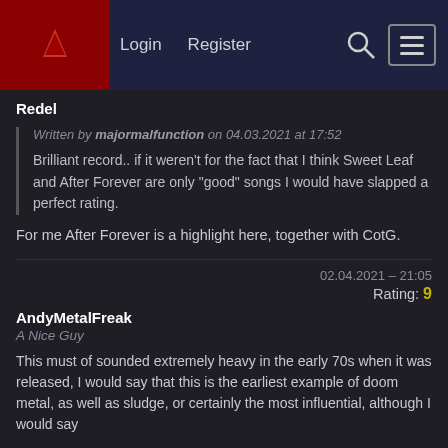Login  Register
Redel
Written by majormalfunction on 04.03.2021 at 17:52

Brilliant record.. if it weren't for the fact that I think Sweet Leaf and After Forever are only "good" songs I would have slapped a perfect rating.
For me After Forever is a highlight here, together with CotG.
02.04.2021 – 21:05
Rating: 9
AndyMetalFreak
A Nice Guy
This must of sounded extremely heavy in the early 70s when it was released, I would say that this is the earliest example of doom metal, as well as sludge, or certainly the most influential, although I would say